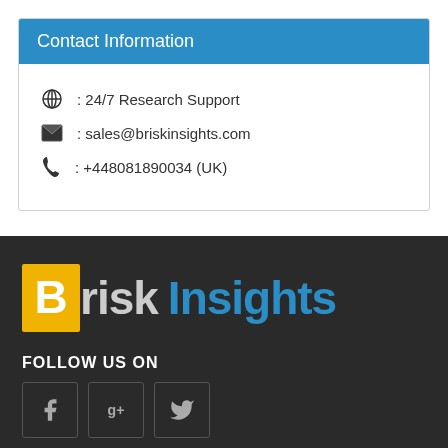Contact Information
24/7 Research Support
sales@briskinsights.com
+448081890034 (UK)
[Figure (logo): Brisk Insights logo with yellow B box and blue Insights text]
FOLLOW US ON
[Figure (infographic): Social media icons: Facebook, Google+, Twitter]